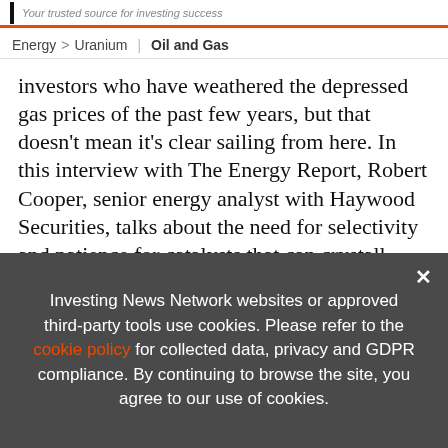Your trusted source for investing success
Energy > Uranium | Oil and Gas
investors who have weathered the depressed gas prices of the past few years, but that doesn't mean it's clear sailing from here. In this interview with The Energy Report, Robert Cooper, senior energy analyst with Haywood Securities, talks about the need for selectivity and patience for catalysts that can crystall
[Figure (other): Advertisement banner for Exclusive 2022 Energy Outlook Report. Trends. Forecasts. Top Stocks. with orange arrow button]
Investing News Network websites or approved third-party tools use cookies. Please refer to the cookie policy for collected data, privacy and GDPR compliance. By continuing to browse the site, you agree to our use of cookies.